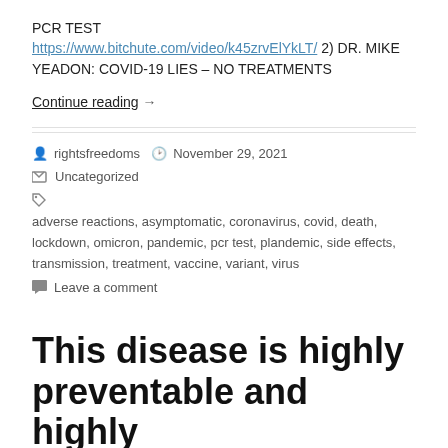PCR TEST https://www.bitchute.com/video/k45zrvElYkLT/ 2) DR. MIKE YEADON: COVID-19 LIES – NO TREATMENTS
Continue reading →
rightsfreedoms  November 29, 2021  Uncategorized  adverse reactions, asymptomatic, coronavirus, covid, death, lockdown, omicron, pandemic, pcr test, plandemic, side effects, transmission, treatment, vaccine, variant, virus  Leave a comment
This disease is highly preventable and highly